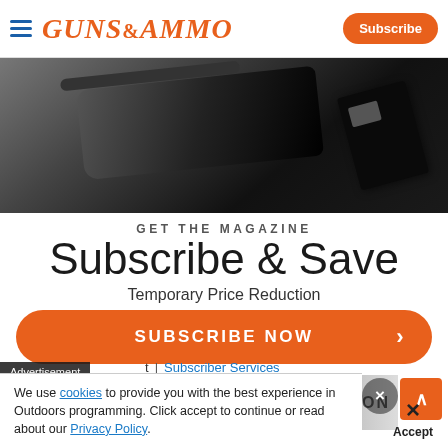GUNS&AMMO | Subscribe
[Figure (photo): Guns and Ammo magazine and a firearm on dark background]
GET THE MAGAZINE
Subscribe & Save
Temporary Price Reduction
SUBSCRIBE NOW >
Advertisement
t | Subscriber Services
[Figure (photo): Advertisement banner showing person with rifle, Tipton branding]
We use cookies to provide you with the best experience in Outdoors programming. Click accept to continue or read about our Privacy Policy.